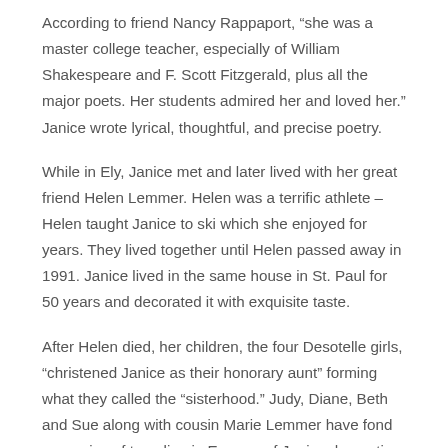According to friend Nancy Rappaport, “she was a master college teacher, especially of William Shakespeare and F. Scott Fitzgerald, plus all the major poets. Her students admired her and loved her.” Janice wrote lyrical, thoughtful, and precise poetry.
While in Ely, Janice met and later lived with her great friend Helen Lemmer. Helen was a terrific athlete – Helen taught Janice to ski which she enjoyed for years. They lived together until Helen passed away in 1991. Janice lived in the same house in St. Paul for 50 years and decorated it with exquisite taste.
After Helen died, her children, the four Desotelle girls, “christened Janice as their honorary aunt” forming what they called the “sisterhood.” Judy, Diane, Beth and Sue along with cousin Marie Lemmer have fond memories of traveling in Europe, of Janice decorating her and their houses for her and of sharing many holidays and family celebrations. They say that Janice taught them to shop and have fun. Janice loved beautiful things and made